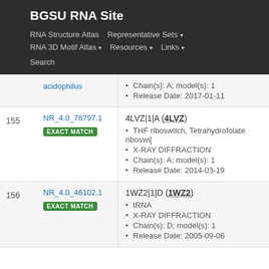BGSU RNA Site
RNA Structure Atlas | Representative Sets ▾ | RNA 3D Motif Atlas ▾ | Resources ▾ | Links ▾ | Search
| # | ID | Details |
| --- | --- | --- |
|  | acidophilus | Chain(s): A; model(s): 1 | Release Date: 2017-01-11 |
| 155 | NR_4.0_78797.1 EXACT MATCH | 4LVZ|1|A (4LVZ) • THF riboswitch, Tetrahydrofolate riboswi[ • X-RAY DIFFRACTION • Chain(s): A; model(s): 1 • Release Date: 2014-03-19 |
| 156 | NR_4.0_46102.1 EXACT MATCH | 1WZ2|1|D (1WZ2) • tRNA • X-RAY DIFFRACTION • Chain(s): D; model(s): 1 • Release Date: 2005-09-06 |